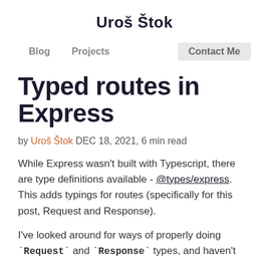Uroš Štok
Blog   Projects   Contact Me
Typed routes in Express
by Uroš Štok DEC 18, 2021, 6 min read
While Express wasn't built with Typescript, there are type definitions available - @types/express. This adds typings for routes (specifically for this post, Request and Response).
I've looked around for ways of properly doing `Request` and `Response` types, and haven't